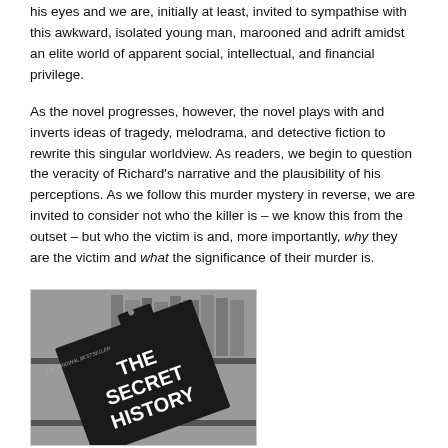his eyes and we are, initially at least, invited to sympathise with this awkward, isolated young man, marooned and adrift amidst an elite world of apparent social, intellectual, and financial privilege.
As the novel progresses, however, the novel plays with and inverts ideas of tragedy, melodrama, and detective fiction to rewrite this singular worldview. As readers, we begin to question the veracity of Richard's narrative and the plausibility of his perceptions. As we follow this murder mystery in reverse, we are invited to consider not who the killer is – we know this from the outset – but who the victim is and, more importantly, why they are the victim and what the significance of their murder is.
[Figure (photo): Black and white photograph of the book 'The Secret History' (The Original Bestseller) shown at an angle against a background of bookshelves.]